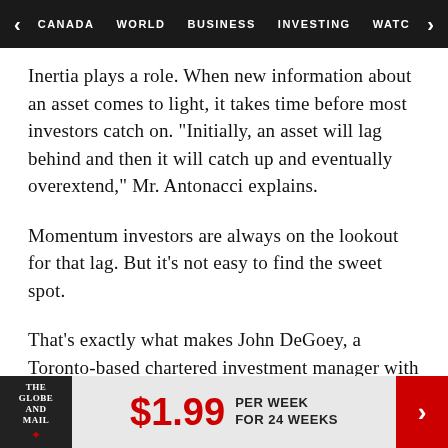CANADA   WORLD   BUSINESS   INVESTING   WATC
Inertia plays a role. When new information about an asset comes to light, it takes time before most investors catch on. "Initially, an asset will lag behind and then it will catch up and eventually overextend," Mr. Antonacci explains.
Momentum investors are always on the lookout for that lag. But it's not easy to find the sweet spot.
That's exactly what makes John DeGoey, a Toronto-based chartered investment manager with Burgeonvest Bick Securities Ltd. and author of The Professional Financial Advisor III, so wary.
THE GLOBE AND MAIL   $1.99 PER WEEK FOR 24 WEEKS